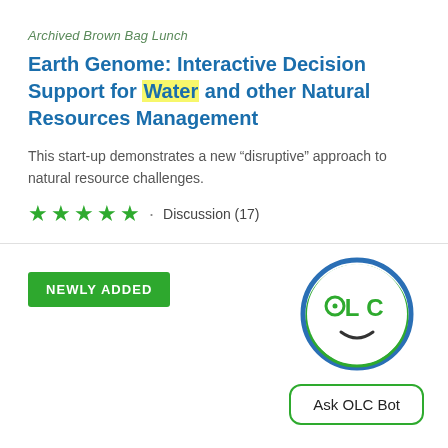Archived Brown Bag Lunch
Earth Genome: Interactive Decision Support for Water and other Natural Resources Management
This start-up demonstrates a new “disruptive” approach to natural resource challenges.
★ ★ ★ ★ ★  ·  Discussion (17)
NEWLY ADDED
[Figure (illustration): OLC Bot logo: a circular face icon with blue and green outline, containing the letters OLC with dot eyes and a smile, above an 'Ask OLC Bot' button]